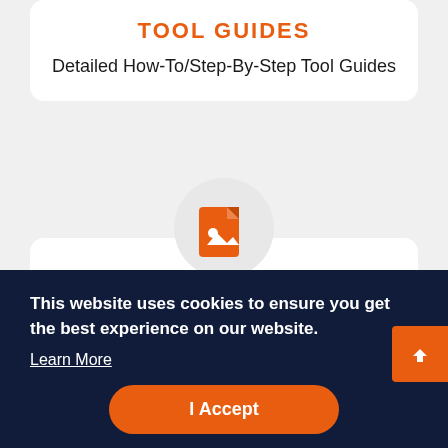TOOL GUIDES
Detailed How-To/Step-By-Step Tool Guides
[Figure (illustration): Orange document/image file icon inside a light grey circle]
This website uses cookies to ensure you get the best experience on our website.
Learn More
I Accept